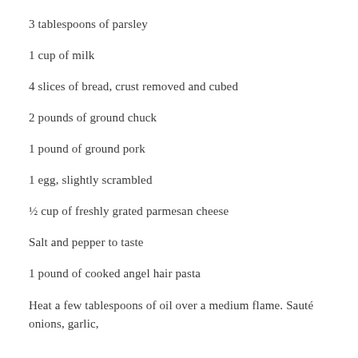3 tablespoons of parsley
1 cup of milk
4 slices of bread, crust removed and cubed
2 pounds of ground chuck
1 pound of ground pork
1 egg, slightly scrambled
½ cup of freshly grated parmesan cheese
Salt and pepper to taste
1 pound of cooked angel hair pasta
Heat a few tablespoons of oil over a medium flame. Sauté onions, garlic,